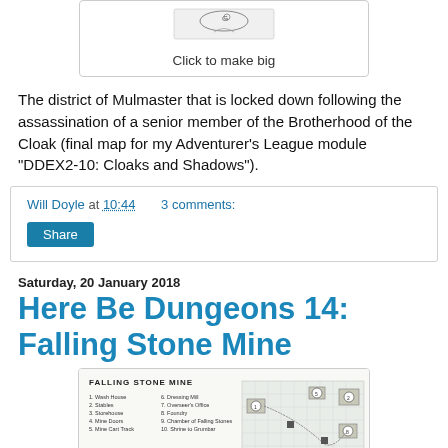[Figure (illustration): Partial map/illustration shown at top of page with 'Click to make big' caption]
Click to make big
The district of Mulmaster that is locked down following the assassination of a senior member of the Brotherhood of the Cloak (final map for my Adventurer's League module "DDEX2-10: Cloaks and Shadows").
Will Doyle at 10:44    3 comments:
Share
Saturday, 20 January 2018
Here Be Dungeons 14: Falling Stone Mine
[Figure (map): Map of Falling Stone Mine showing numbered locations with legend listing: 1. Wash House, 2. Stables, 3. Storehouse, 4. Mine Doors, 5. Mine Cart Track, 6. Dressing Mill, 7. Overseer's Office, 8. Foundry, 9. Chamber of Falling Stones, 10. Shrine to Grumbar]